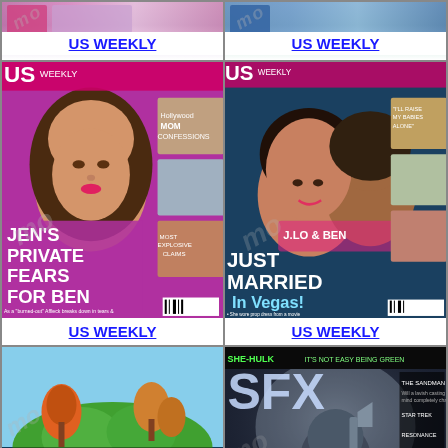[Figure (photo): Top portion of US Weekly magazine cover - partial view showing top of magazine]
US WEEKLY
[Figure (photo): Top portion of US Weekly magazine cover - partial view showing top of magazine]
US WEEKLY
[Figure (photo): US Weekly magazine cover featuring Jennifer Garner with headline JEN'S PRIVATE FEARS FOR BEN]
US WEEKLY
[Figure (photo): US Weekly magazine cover featuring J.Lo and Ben Affleck with headline JUST MARRIED In Vegas!]
US WEEKLY
[Figure (photo): Troiscouleurs magazine cover with illustration of tropical island and headline LA TENTATION DE L'ILE]
[Figure (photo): SFX magazine cover featuring Prey/She-Hulk with headline IT'S NOT EASY BEING GREEN and £15,000 to be won]